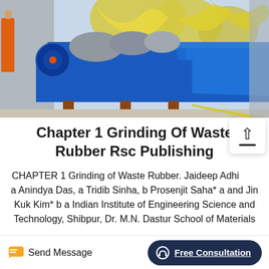[Figure (photo): A blue industrial grinding/washing machine with rotating impellers, sitting outdoors on a paved surface. Yellow impeller blades visible in background, silver/grey wrapped components on top of the blue machine.]
Chapter 1 Grinding Of Waste Rubber Rsc Publishing
CHAPTER 1 Grinding of Waste Rubber. Jaideep Adhikari, a Anindya Das, a Tridib Sinha, b Prosenjit Saha* a and Jin Kuk Kim* b a Indian Institute of Engineering Science and Technology, Shibpur, Dr. M.N. Dastur School of Materials
Send Message   Free Consultation